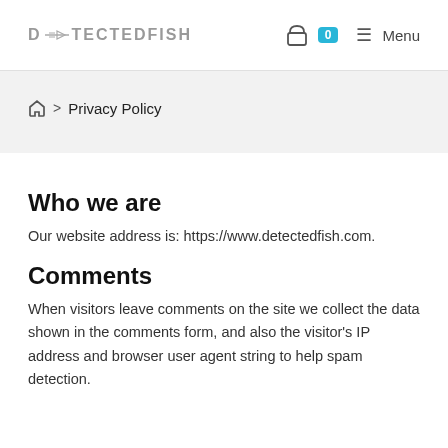DETECTEDFISH   0  Menu
🏠 > Privacy Policy
Who we are
Our website address is: https://www.detectedfish.com.
Comments
When visitors leave comments on the site we collect the data shown in the comments form, and also the visitor's IP address and browser user agent string to help spam detection.